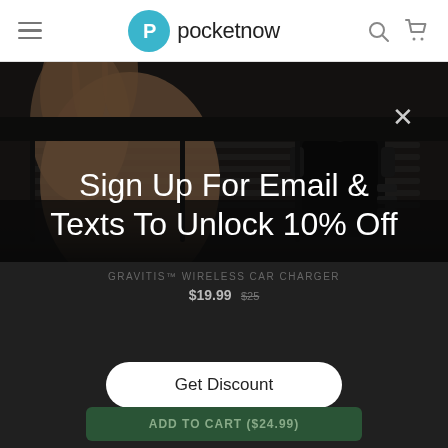pocketnow
[Figure (photo): Hand placing a phone into a GRAVITIS wireless car charger mounted on a car dashboard vent]
GRAVITIS Wireless Car Charger
$19.99  $25
Sign Up For Email & Texts To Unlock 10% Off
Get Discount
ADD TO CART ($24.99)